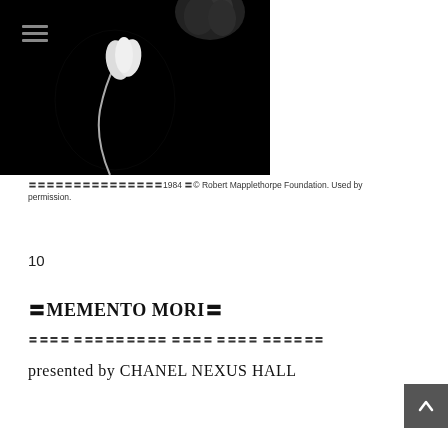[Figure (photo): Black and white photograph of two flowers — a white tulip with a curved stem in the foreground and a darker flower in the upper right, set against a pure black background. Photograph by Robert Mapplethorpe, 1984.]
〓〓〓〓〓〓〓〓〓〓〓〓〓〓〓1984 〓© Robert Mapplethorpe Foundation. Used by permission.
10
〓MEMENTO MORI〓
〓〓〓〓 〓〓〓〓〓〓〓〓〓 〓〓〓〓 〓〓〓〓 〓〓〓〓〓〓
presented by CHANEL NEXUS HALL